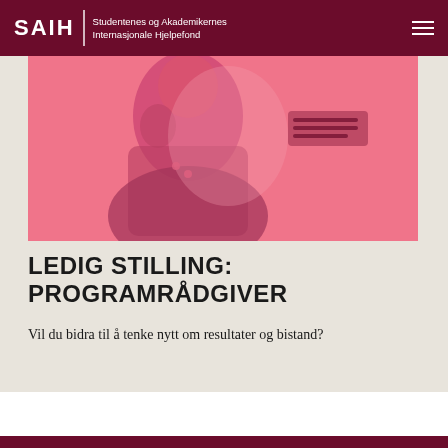SAIH | Studentenes og Akademikernes Internasjonale Hjelpefond
[Figure (photo): Pink duotone photo of a person with hand near face, cropped portrait style]
LEDIG STILLING: PROGRAMRÅDGIVER
Vil du bidra til å tenke nytt om resultater og bistand?